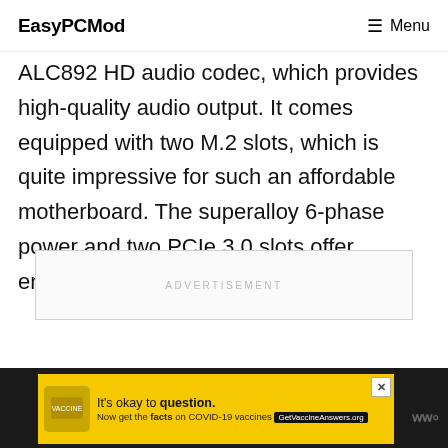EasyPCMod  Menu
ALC892 HD audio codec, which provides high-quality audio output. It comes equipped with two M.2 slots, which is quite impressive for such an affordable motherboard. The superalloy 6-phase power and two PCIe 3.0 slots offer enough connecting features.
ADVERTISEMENT
[Figure (other): Yellow advertisement banner at bottom with COVID-19 vaccine information: 'It's okay to question. Now get the facts on COVID-19 vaccines GetVaccineAnswers.org']